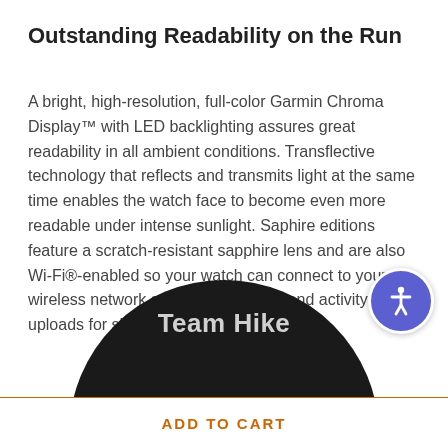Outstanding Readability on the Run
A bright, high-resolution, full-color Garmin Chroma Display™ with LED backlighting assures great readability in all ambient conditions. Transflective technology that reflects and transmits light at the same time enables the watch face to become even more readable under intense sunlight. Sapphire editions feature a scratch-resistant sapphire lens and are also Wi-Fi®-enabled so your watch can connect to your wireless network and automatically send activity uploads for sharing on Garmin Connect.
[Figure (illustration): Dark circular badge/button showing 'Team Hike' text in gray on a dark background, partially cropped at the bottom]
ADD TO CART